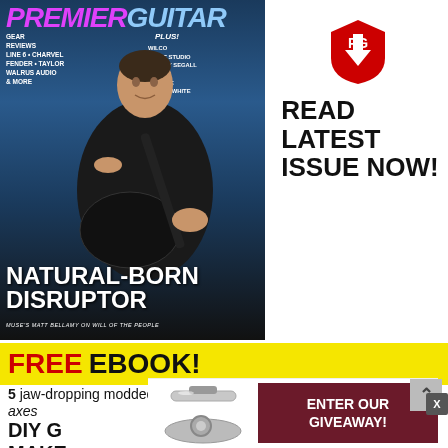[Figure (photo): Premier Guitar magazine cover showing a guitarist (Muse's Matt Bellamy) playing guitar with headline 'NATURAL-BORN DISRUPTOR' and subheading 'MUSE'S MATT BELLAMY ON WILL OF THE PEOPLE']
[Figure (logo): Premier Guitar PG logo (red shield with guitar pick shape) with text READ LATEST ISSUE NOW!]
READ LATEST ISSUE NOW!
FREE EBOOK!
5 jaw-dropping modded reader axes
DIY GUITAR MAKEOVER
[Figure (photo): Chrome/silver tuner or guitar accessory product image]
ENTER OUR GIVEAWAY!